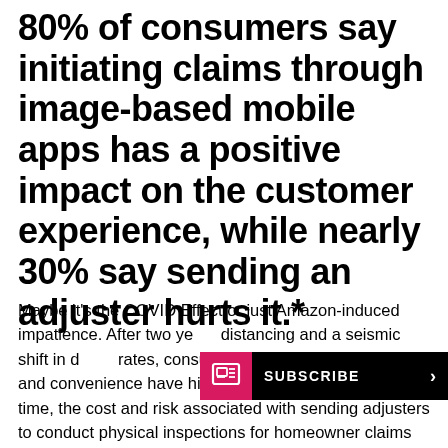80% of consumers say initiating claims through image-based mobile apps has a positive impact on the customer experience, while nearly 30% say sending an adjuster hurts it.*
Maybe it's the COVID Effect or just Amazon-induced impatience. After two ye[ars of social] distancing and a seismic shift in d[igital adoption] rates, consumer expectations for speed and convenience have hit the stratosphere. At the same time, the cost and risk associated with sending adjusters to conduct physical inspections for homeowner claims continue to rise—especially in the wake of large-scale